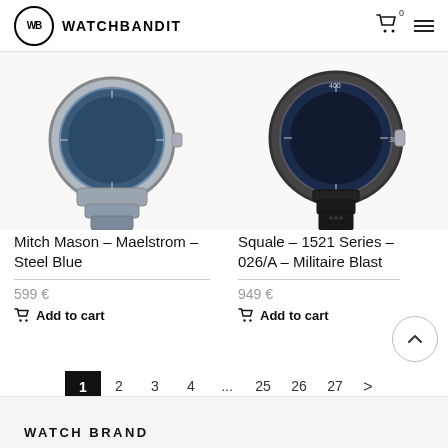WB WATCHBANDIT
[Figure (photo): Mitch Mason Maelstrom Steel Blue watch with metal bracelet, partially cropped showing lower portion of watch]
[Figure (photo): Squale 1521 Series 026/A Militaire Blast watch with dark leather strap, partially cropped showing lower portion of watch]
Mitch Mason – Maelstrom – Steel Blue
599 €
Add to cart
Squale – 1521 Series – 026/A – Militaire Blast
949 €
Add to cart
1 2 3 4 ... 25 26 27 >
WATCH BRAND